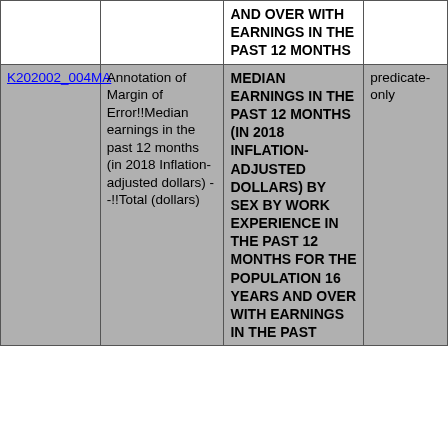|  |  | AND OVER WITH EARNINGS IN THE PAST 12 MONTHS |  |
| --- | --- | --- | --- |
| K202002_004MA | Annotation of Margin of Error!!Median earnings in the past 12 months (in 2018 Inflation-adjusted dollars) --!!Total (dollars) | MEDIAN EARNINGS IN THE PAST 12 MONTHS (IN 2018 INFLATION-ADJUSTED DOLLARS) BY SEX BY WORK EXPERIENCE IN THE PAST 12 MONTHS FOR THE POPULATION 16 YEARS AND OVER WITH EARNINGS IN THE PAST | predicate-only |